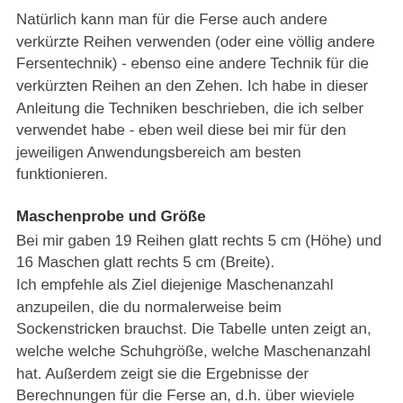Natürlich kann man für die Ferse auch andere verkürzte Reihen verwenden (oder eine völlig andere Fersentechnik) - ebenso eine andere Technik für die verkürzten Reihen an den Zehen. Ich habe in dieser Anleitung die Techniken beschrieben, die ich selber verwendet habe - eben weil diese bei mir für den jeweiligen Anwendungsbereich am besten funktionieren.
Maschenprobe und Größe
Bei mir gaben 19 Reihen glatt rechts 5 cm (Höhe) und 16 Maschen glatt rechts 5 cm (Breite).
Ich empfehle als Ziel diejenige Maschenanzahl anzupeilen, die du normalerweise beim Sockenstricken brauchst. Die Tabelle unten zeigt an, welche welche Schuhgröße, welche Maschenanzahl hat. Außerdem zeigt sie die Ergebnisse der Berechnungen für die Ferse an, d.h. über wieviele Maschen die Ferse nach einigen Zunahmen gestrickt wird und wie diese Maschen beim Stricken der Ferse aufgeteilt werden, für Größe 36, z.B. werden an jeder Seite 11 Maschen in Shadow Wraps gestrickt und 12 Maschen bleiben in der Mitte.